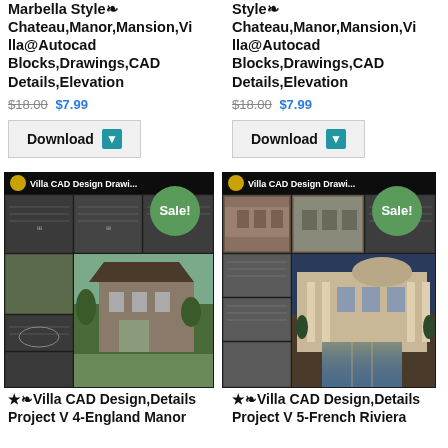Marbella Style❧ Chateau,Manor,Mansion,Villa@Autocad Blocks,Drawings,CAD Details,Elevation
$18.00 $7.99
Download
Style❧ Chateau,Manor,Mansion,Villa@Autocad Blocks,Drawings,CAD Details,Elevation
$18.00 $7.99
Download
[Figure (photo): Villa CAD Design Drawing product image with Sale! badge - England Manor style]
[Figure (photo): Villa CAD Design Drawing product image with Sale! badge - French Riviera style]
★❧Villa CAD Design,Details Project V 4-England Manor
★❧Villa CAD Design,Details Project V 5-French Riviera